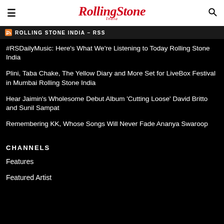RollingStone India
ROLLING STONE INDIA – RSS
#RSDailyMusic: Here's What We're Listening to Today Rolling Stone India
Plini, Taba Chake, The Yellow Diary and More Set for LiveBox Festival in Mumbai Rolling Stone India
Hear Jaimin's Wholesome Debut Album 'Cutting Loose' David Britto and Sunil Sampat
Remembering KK, Whose Songs Will Never Fade Ananya Swaroop
CHANNELS
Features
Featured Artist